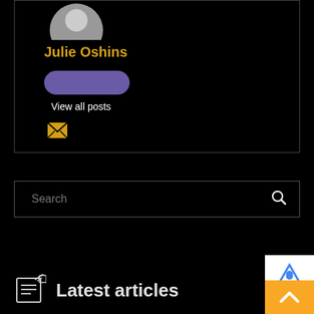[Figure (photo): Profile card with gray avatar circle at top, author name 'Julie Oshins' in orange/gold, a purple pill-shaped button, 'View all posts' text, and an email envelope icon. Card has a dark border on black background.]
Julie Oshins
View all posts
Search
Latest articles
[Figure (screenshot): reCAPTCHA badge in bottom right corner with orange background, white inner panel with blue reCAPTCHA logo, and 'Priv...' text partially visible.]
[Figure (other): Orange scroll-to-top button with upward arrow chevron at bottom right corner.]